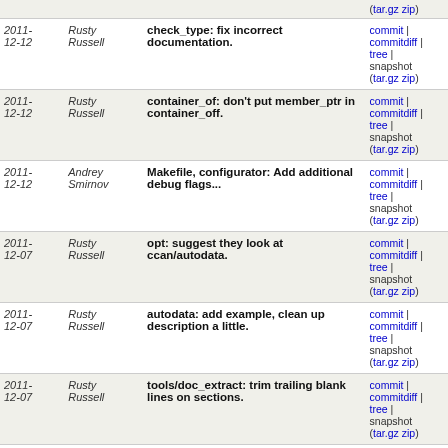| Date | Author | Commit Message | Links |
| --- | --- | --- | --- |
| 2011-12-12 | Rusty Russell | check_type: fix incorrect documentation. | commit | commitdiff | tree | snapshot (tar.gz zip) |
| 2011-12-12 | Rusty Russell | container_of: don't put member_ptr in container_off. | commit | commitdiff | tree | snapshot (tar.gz zip) |
| 2011-12-12 | Andrey Smirnov | Makefile, configurator: Add additional debug flags... | commit | commitdiff | tree | snapshot (tar.gz zip) |
| 2011-12-07 | Rusty Russell | opt: suggest they look at ccan/autodata. | commit | commitdiff | tree | snapshot (tar.gz zip) |
| 2011-12-07 | Rusty Russell | autodata: add example, clean up description a little. | commit | commitdiff | tree | snapshot (tar.gz zip) |
| 2011-12-07 | Rusty Russell | tools/doc_extract: trim trailing blank lines on sections. | commit | commitdiff | tree | snapshot (tar.gz zip) |
| 2011-12-07 | Rusty Russell | web: publish See Also: for modules which supply it. | commit | commitdiff | tree | snapshot (tar.gz zip) |
| 2011-12-07 | Rusty Russell | tools/doc_extract: simplify handling fields with spaces... | commit | commitdiff | tree | snapshot (tar.gz zip) |